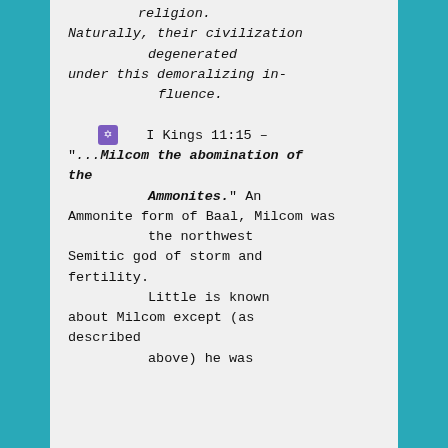religion.
        Naturally, their civilization
              degenerated
        under this demoralizing in-
              fluence.
✡    I Kings 11:15 – "...Milcom the abomination of the
              Ammonites." An Ammonite form of Baal, Milcom was
              the northwest Semitic god of storm and fertility.
              Little is known about Milcom except (as described
              above) he was